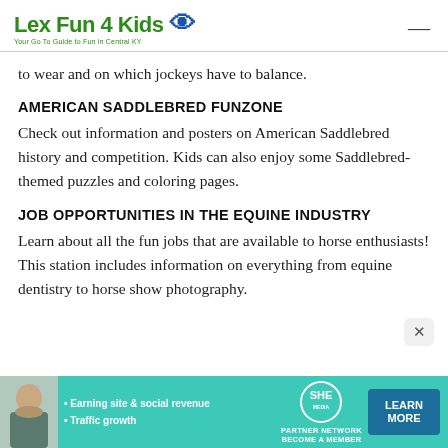Lex Fun 4 Kids — Your Go To Guide to Fun in Central KY
to wear and on which jockeys have to balance.
AMERICAN SADDLEBRED FUNZONE
Check out information and posters on American Saddlebred history and competition. Kids can also enjoy some Saddlebred-themed puzzles and coloring pages.
JOB OPPORTUNITIES IN THE EQUINE INDUSTRY
Learn about all the fun jobs that are available to horse enthusiasts! This station includes information on everything from equine dentistry to horse show photography.
[Figure (infographic): Advertisement banner for SHE Partner Network showing a woman, bullets 'Earning site & social revenue' and 'Traffic growth', SHE logo, and a 'Learn More' button]